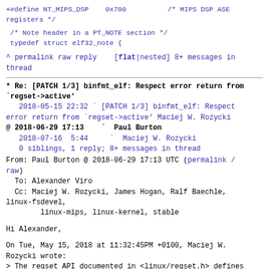+#define NT_MIPS_DSP   0x700          /* MIPS DSP ASE registers */
/* Note header in a PT_NOTE section */
 typedef struct elf32_note {
^ permalink raw reply   [flat|nested] 8+ messages in thread
* Re: [PATCH 1/3] binfmt_elf: Respect error return from `regset->active'
   2018-05-15 22:32 ` [PATCH 1/3] binfmt_elf: Respect error return from `regset->active' Maciej W. Rozycki
@ 2018-06-29 17:13     Paul Burton
   2018-07-16  5:44    ` Maciej W. Rozycki
   0 siblings, 1 reply; 8+ messages in thread
From: Paul Burton @ 2018-06-29 17:13 UTC (permalink / raw)
  To: Alexander Viro
  Cc: Maciej W. Rozycki, James Hogan, Ralf Baechle, linux-fsdevel,
        linux-mips, linux-kernel, stable
Hi Alexander,
On Tue, May 15, 2018 at 11:32:45PM +0100, Maciej W. Rozycki wrote:
> The regset API documented in <linux/regset.h> defines -ENODEV as the